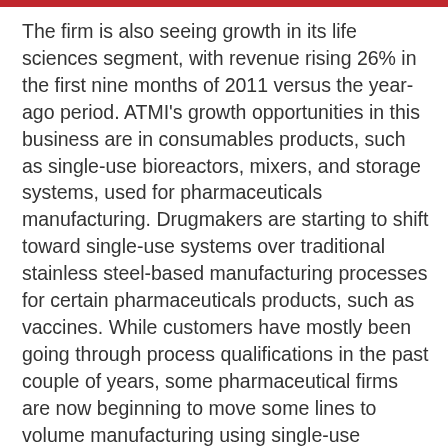The firm is also seeing growth in its life sciences segment, with revenue rising 26% in the first nine months of 2011 versus the year-ago period. ATMI's growth opportunities in this business are in consumables products, such as single-use bioreactors, mixers, and storage systems, used for pharmaceuticals manufacturing. Drugmakers are starting to shift toward single-use systems over traditional stainless steel-based manufacturing processes for certain pharmaceuticals products, such as vaccines. While customers have mostly been going through process qualifications in the past couple of years, some pharmaceutical firms are now beginning to move some lines to volume manufacturing using single-use systems. As this trend continues in the upcoming quarters, we expect ATMI to see further top-line growth in the life